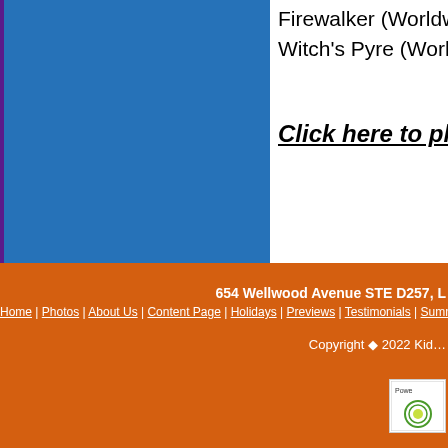Firewalker (Worldwalker Trilogy)
Witch's Pyre (Worldwalker Tril…
Click here to place your order!
654 Wellwood Avenue STE D257, L…
Home | Photos | About Us | Content Page | Holidays | Previews | Testimonials | Summe…
Copyright © 2022 Kid…